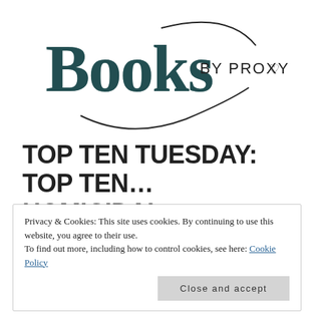[Figure (logo): Books by Proxy logo — gothic/blackletter 'Books' text with teal/dark coloring and a cursive swash, followed by 'BY PROXY' in sans-serif caps with a small heart symbol]
TOP TEN TUESDAY: TOP TEN… HOMICIDAL INANIMATE OBJECTS
OCTOBER 27, 2015 | PROXYFISH
Privacy & Cookies: This site uses cookies. By continuing to use this website, you agree to their use.
To find out more, including how to control cookies, see here: Cookie Policy
Close and accept